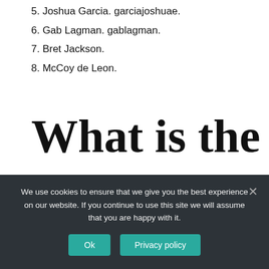5. Joshua Garcia. garciajoshuae.
6. Gab Lagman. gablagman.
7. Bret Jackson.
8. McCoy de Leon.
What is the
We use cookies to ensure that we give you the best experience on our website. If you continue to use this site we will assume that you are happy with it.